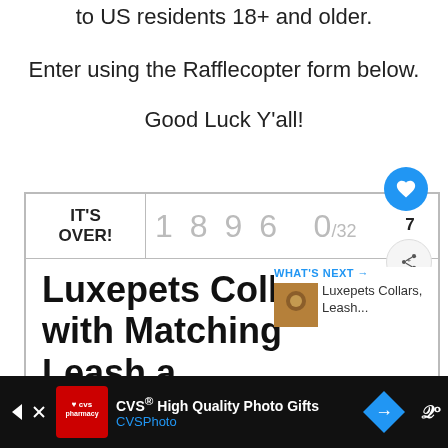to US residents 18+ and older.
Enter using the Rafflecopter form below.
Good Luck Y'all!
[Figure (screenshot): Rafflecopter giveaway widget showing IT'S OVER!, 1896 entries, 0/32 score, heart button, share button with 7 count, and title 'Luxepets Collar with Matching Leash a... Charm of choice!' with a WHAT'S NEXT panel showing Luxepets Collars, Leash...]
[Figure (screenshot): CVS High Quality Photo Gifts advertisement bar at bottom with CVS Pharmacy logo, arrow navigation, and diamond-shaped blue icon]